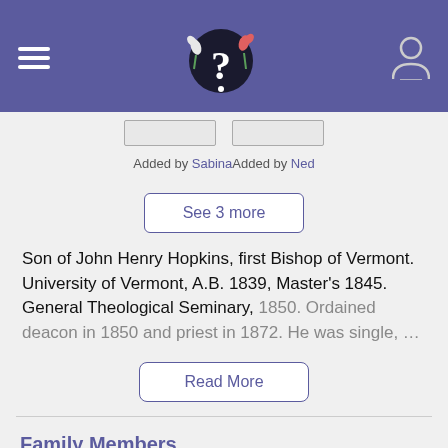Added by SabinaAdded by Ned
See 3 more
Son of John Henry Hopkins, first Bishop of Vermont. University of Vermont, A.B. 1839, Master's 1845. General Theological Seminary, 1850. Ordained deacon in 1850 and priest in 1872. He was single, …
Read More
Family Members
Parents
John Henry Hopkins
1792–1868